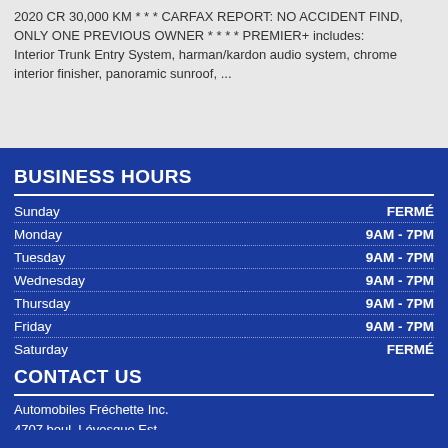2020 CR 30,000 KM * * * CARFAX REPORT: NO ACCIDENT FIND, ONLY ONE PREVIOUS OWNER * * * * PREMIER+ includes: Interior Trunk Entry System, harman/kardon audio system, chrome interior finisher, panoramic sunroof, ...
BUSINESS HOURS
| Day | Hours |
| --- | --- |
| Sunday | FERMÉ |
| Monday | 9AM - 7PM |
| Tuesday | 9AM - 7PM |
| Wednesday | 9AM - 7PM |
| Thursday | 9AM - 7PM |
| Friday | 9AM - 7PM |
| Saturday | FERMÉ |
CONTACT US
Automobiles Fréchette Inc.
4707 boul. Lévesque Est
Laval, Québec, H7C 2P4
(877) 833-1336